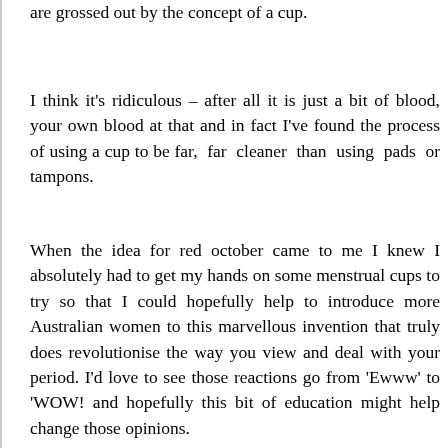are grossed out by the concept of a cup.
I think it's ridiculous – after all it is just a bit of blood, your own blood at that and in fact I've found the process of using a cup to be far, far cleaner than using pads or tampons.
When the idea for red october came to me I knew I absolutely had to get my hands on some menstrual cups to try so that I could hopefully help to introduce more Australian women to this marvellous invention that truly does revolutionise the way you view and deal with your period. I'd love to see those reactions go from 'Ewww' to 'WOW! and hopefully this bit of education might help change those opinions.